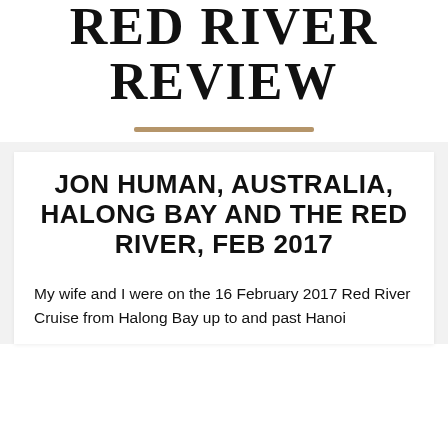RED RIVER REVIEW
JON HUMAN, AUSTRALIA, HALONG BAY AND THE RED RIVER, FEB 2017
My wife and I were on the 16 February 2017 Red River Cruise from Halong Bay up to and past Hanoi